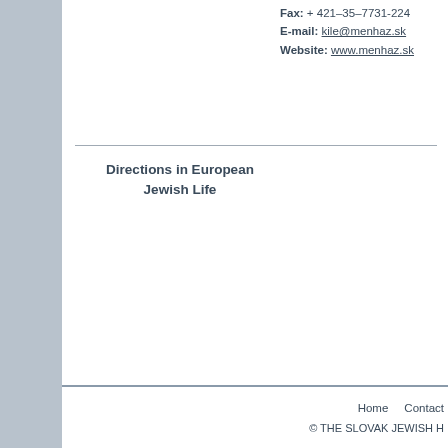Fax: + 421–35–7731-224
E-mail: kile@menhaz.sk
Website: www.menhaz.sk
Directions in European Jewish Life
Home   Contact
© THE SLOVAK JEWISH H